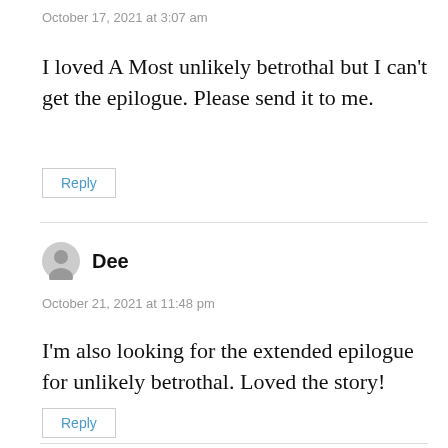October 17, 2021 at 3:07 am
I loved A Most unlikely betrothal but I can't get the epilogue. Please send it to me.
Reply
Dee
October 21, 2021 at 11:48 pm
I'm also looking for the extended epilogue for unlikely betrothal. Loved the story!
Reply